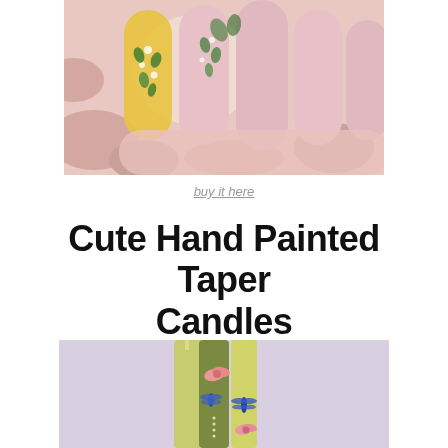[Figure (photo): Close-up photo of painted fingernails with floral designs on a decorative background with pink camouflage pattern]
buy it here
Cute Hand Painted Taper Candles
[Figure (photo): Three hand-painted taper candles in yellow-green and olive colors with dragonfly and bow designs]